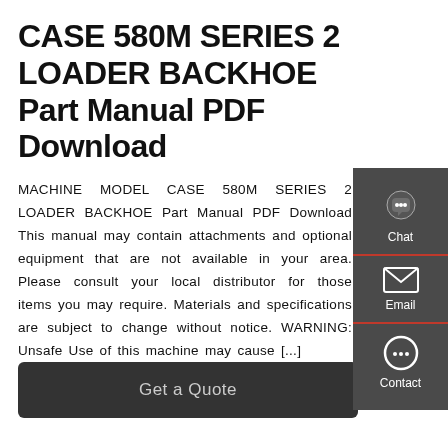CASE 580M SERIES 2 LOADER BACKHOE Part Manual PDF Download
MACHINE MODEL CASE 580M SERIES 2 LOADER BACKHOE Part Manual PDF Download This manual may contain attachments and optional equipment that are not available in your area. Please consult your local distributor for those items you may require. Materials and specifications are subject to change without notice. WARNING: Unsafe Use of this machine may cause [...]